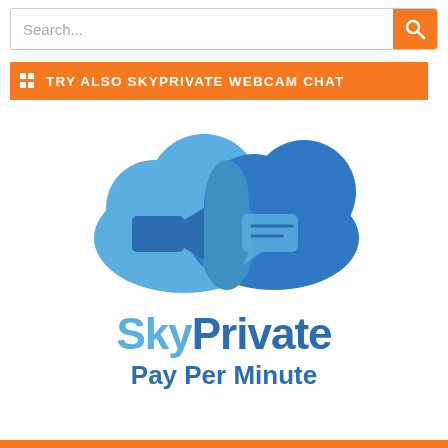Search...
TRY ALSO SKYPRIVATE WEBCAM CHAT
[Figure (logo): SkyPrivate logo with two overlapping cloud shapes in blue tones, left cloud containing a video camera icon, right cloud containing a chat bubble icon, with 'SkyPrivate Pay Per Minute' text below]